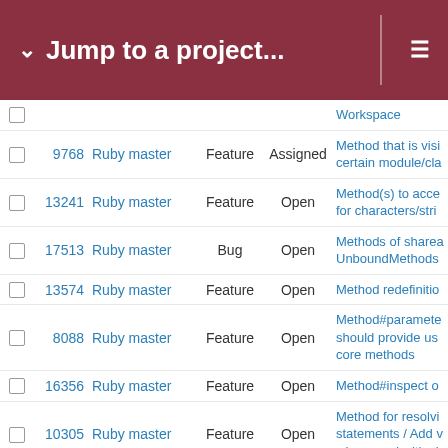Jump to a project...
|  | # | Project | Type | Status | Subject |
| --- | --- | --- | --- | --- | --- |
|  |  |  |  |  | Workspace |
|  | 9768 | Ruby master | Feature | Assigned | Method that is visi certain module/cla |
|  | 13241 | Ruby master | Feature | Open | Method(s) to acce for characters/stri |
|  | 17513 | Ruby master | Bug | Open | Methods of sharea UnboundMethods |
|  | 13574 | Ruby master | Feature | Open | Method redefinitio |
|  | 8088 | Ruby master | Feature | Open | Method#paramete should provide us core methods |
|  | 16356 | Ruby master | Feature | Open | Method#inspect o |
|  | 10305 | Ruby master | Feature | Open | Method for resolvi statements / Add v when used with ch |
|  | 13913 | Ruby master | Feature | Open | Method definition method names |
|  | 14770 | Ruby master | Misc | Open | [META] Developer |
|  | 14274 | Ruby master | Feature | Open | Merge Std-Lib Tim |
|  | 18668 | Ruby master | Feature | Open | Merge `io-nonbloc |